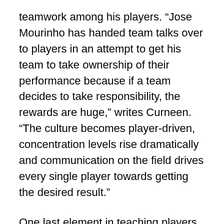teamwork among his players. “Jose Mourinho has handed team talks over to players in an attempt to get his team to take ownership of their performance because if a team decides to take responsibility, the rewards are huge,” writes Curneen. “The culture becomes player-driven, concentration levels rise dramatically and communication on the field drives every single player towards getting the desired result.”
One last element in teaching players to make the right decisions on the field is helping them to make the right ones in everyday situations. Having regular conversations with players about life outside of sport can keep a coach aware of any destructive habits or relationships that might weigh the player down. If an athlete is acting in a way that hurts them mentally, emotionally, or physically, no amount of training will be